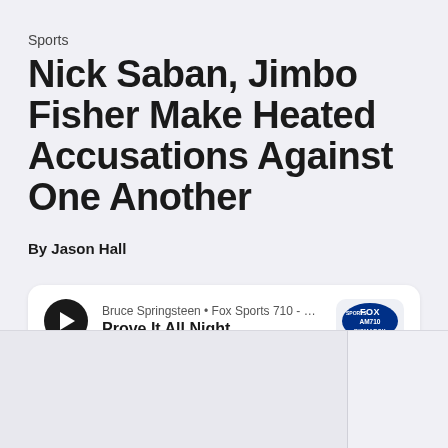Sports
Nick Saban, Jimbo Fisher Make Heated Accusations Against One Another
By Jason Hall
[Figure (screenshot): Audio player card showing: Bruce Springsteen • Fox Sports 710 - Bismarck-Manda... / Prove It All Night, with a play button and Fox Sports AM710 Bismarck station logo]
[Figure (photo): Partially visible image area at bottom of page, content clipped]